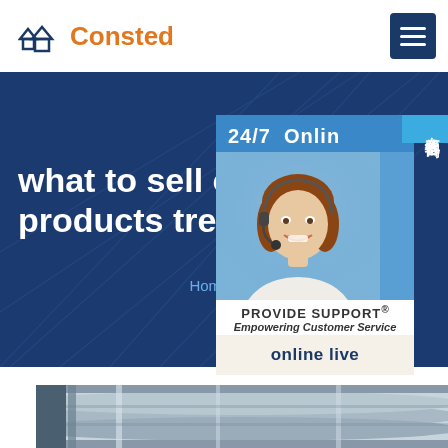[Figure (logo): Consted logo with house-shaped icon in blue and brand name in orange]
[Figure (screenshot): Hero banner with dark blue background and decorative lines, showing heading text 'what to sell online14 p... products trendin...' and breadcrumb 'Home >> AH36 steel']
what to sell online14 p products trending
Home  »  AH36 steel
[Figure (photo): 24/7 Online customer support widget with female agent wearing headset, PROVIDE SUPPORT Empowering Customer Service label, and 'online live' button; Chinese vertical tab '在线咨询']
[Figure (photo): Bottom photo showing steel pipes/tubes close-up in blue-grey tones]